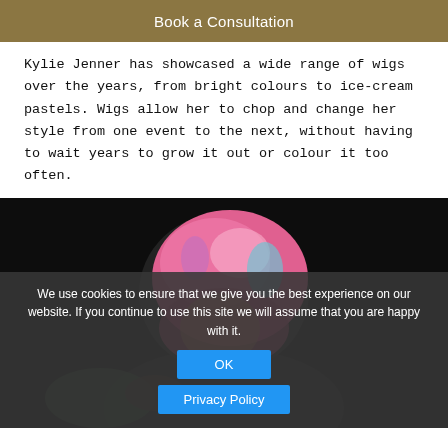Book a Consultation
Kylie Jenner has showcased a wide range of wigs over the years, from bright colours to ice-cream pastels. Wigs allow her to chop and change her style from one event to the next, without having to wait years to grow it out or colour it too often.
[Figure (photo): Photo of a person with pink and multicolored wig hair against a dark background, with a cookie consent overlay. Overlay text: 'We use cookies to ensure that we give you the best experience on our website. If you continue to use this site we will assume that you are happy with it.' with OK and Privacy Policy buttons.]